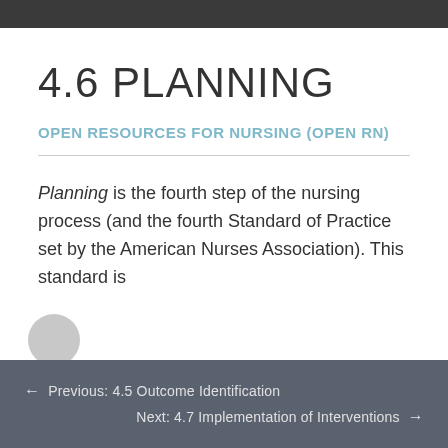4.6 PLANNING
OPEN RESOURCES FOR NURSING (OPEN RN)
Planning is the fourth step of the nursing process (and the fourth Standard of Practice set by the American Nurses Association). This standard is
← Previous: 4.5 Outcome Identification   Next: 4.7 Implementation of Interventions →